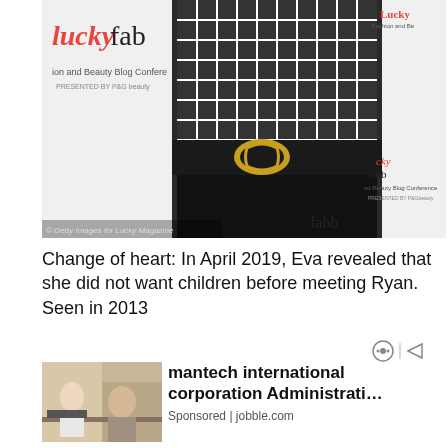[Figure (photo): Woman in black and white checkered top with large gold belt buckle, posing at Lucky FABB Fashion and Beauty Blog Conference backdrop. Watermark: © Getty Images for Lucky Magazine]
Change of heart: In April 2019, Eva revealed that she did not want children before meeting Ryan. Seen in 2013
[Figure (photo): Advertisement thumbnail showing two women working at a desk]
mantech international corporation Administrati…
Sponsored | jobble.com